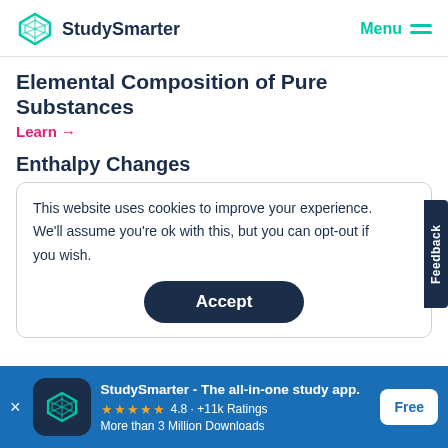StudySmarter | Menu
Elemental Composition of Pure Substances
Learn →
Enthalpy Changes
This website uses cookies to improve your experience. We'll assume you're ok with this, but you can opt-out if you wish.
Accept
Feedback
StudySmarter - The all-in-one study app.
4.8 · +11k Ratings
More than 3 Million Downloads
Free